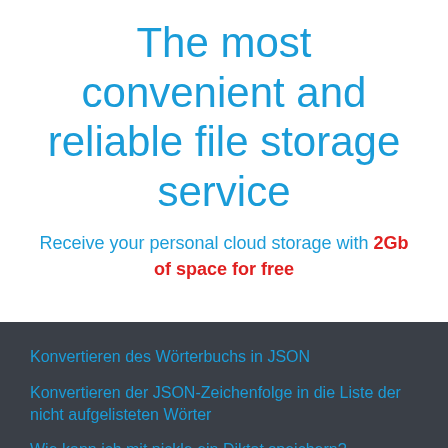The most convenient and reliable file storage service
Receive your personal cloud storage with 2Gb of space for free
Konvertieren des Wörterbuchs in JSON
Konvertieren der JSON-Zeichenfolge in die Liste der nicht aufgelisteten Wörter
Wie kann ich mit pickle ein Diktat speichern?
Python Dict in JSON-Datei ausgeben